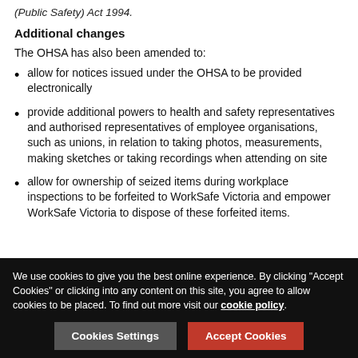(Public Safety) Act 1994.
Additional changes
The OHSA has also been amended to:
allow for notices issued under the OHSA to be provided electronically
provide additional powers to health and safety representatives and authorised representatives of employee organisations, such as unions, in relation to taking photos, measurements, making sketches or taking recordings when attending on site
allow for ownership of seized items during workplace inspections to be forfeited to WorkSafe Victoria and empower WorkSafe Victoria to dispose of these forfeited items.
We use cookies to give you the best online experience. By clicking "Accept Cookies" or clicking into any content on this site, you agree to allow cookies to be placed. To find out more visit our cookie policy.